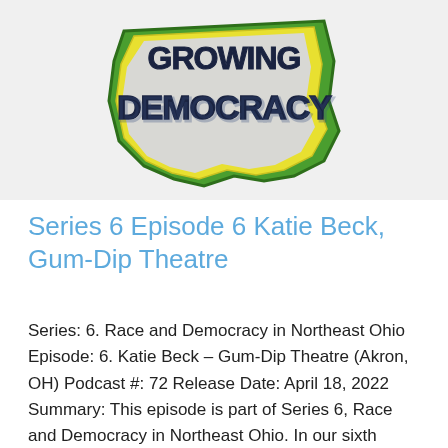[Figure (logo): Logo for 'Growing Democracy' featuring Ohio state shape outline with green and yellow border, dark navy bold text reading 'GROWING DEMOCRACY' over a grey background shaped like Ohio.]
Series 6 Episode 6 Katie Beck, Gum-Dip Theatre
Series: 6. Race and Democracy in Northeast Ohio Episode: 6. Katie Beck – Gum-Dip Theatre (Akron, OH) Podcast #: 72 Release Date: April 18, 2022 Summary: This episode is part of Series 6, Race and Democracy in Northeast Ohio. In our sixth episode, Casey